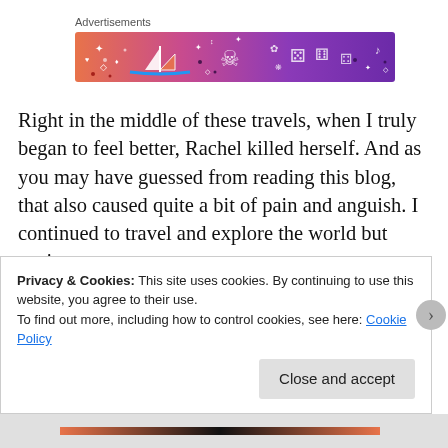Advertisements
[Figure (illustration): Colorful advertisement banner with gradient background (orange to purple) featuring illustrated icons: a sailboat, skull, dice, flowers, leaves, and musical notes in white line art style.]
Right in the middle of these travels, when I truly began to feel better, Rachel killed herself. And as you may have guessed from reading this blog, that also caused quite a bit of pain and anguish. I continued to travel and explore the world but again
Privacy & Cookies: This site uses cookies. By continuing to use this website, you agree to their use.
To find out more, including how to control cookies, see here: Cookie Policy
Close and accept